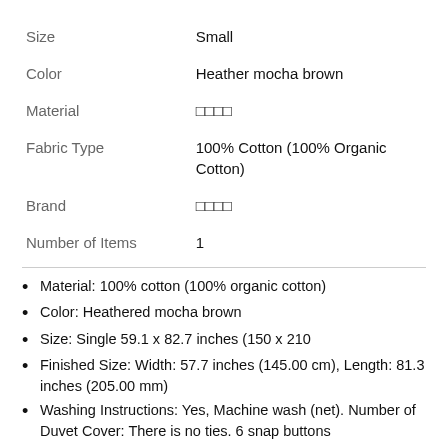| Size | Small |
| Color | Heather mocha brown |
| Material | □□□□ |
| Fabric Type | 100% Cotton (100% Organic Cotton) |
| Brand | □□□□ |
| Number of Items | 1 |
Material: 100% cotton (100% organic cotton)
Color: Heathered mocha brown
Size: Single 59.1 x 82.7 inches (150 x 210
Finished Size: Width: 57.7 inches (145.00 cm), Length: 81.3 inches (205.00 mm)
Washing Instructions: Yes, Machine wash (net). Number of Duvet Cover: There is no ties. 6 snap buttons
Frequently bought together